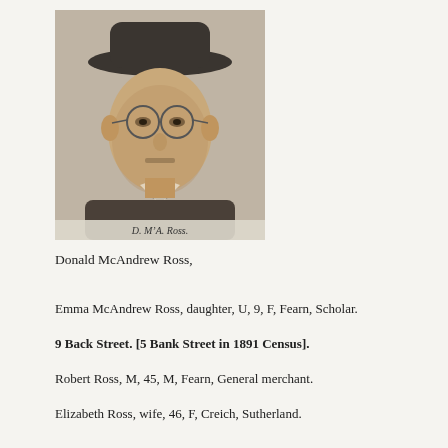[Figure (photo): Black and white portrait photograph of Donald McAndrew Ross, a middle-aged man wearing a bowler hat, round spectacles, suit jacket, and bow tie. Caption 'D. McA. Ross.' appears at the bottom of the photo.]
Donald McAndrew Ross,
Emma McAndrew Ross, daughter, U, 9, F, Fearn, Scholar.
9 Back Street. [5 Bank Street in 1891 Census].
Robert Ross, M, 45, M, Fearn, General merchant.
Elizabeth Ross, wife, 46, F, Creich, Sutherland.